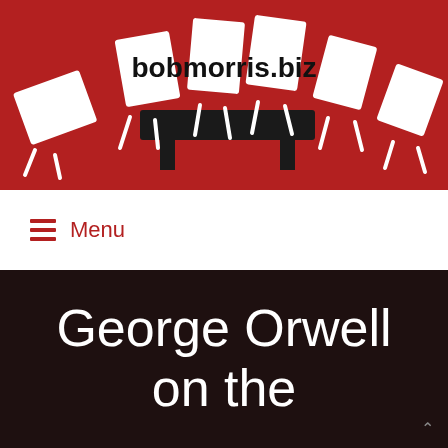[Figure (illustration): Website header banner with red background showing animated white paper/sign characters marching around a dark podium or table. The illustration has a flat design style with white rectangular shapes with stick legs on a crimson red background.]
bobmorris.biz
≡ Menu
George Orwell on the